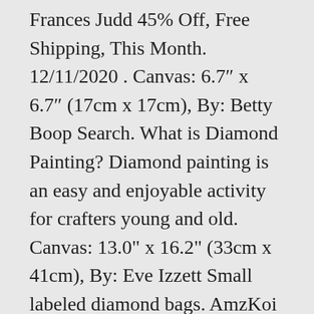Frances Judd 45% Off, Free Shipping, This Month. 12/11/2020 . Canvas: 6.7″ x 6.7″ (17cm x 17cm), By: Betty Boop Search. What is Diamond Painting? Diamond painting is an easy and enjoyable activity for crafters young and old. Canvas: 13.0" x 16.2" (33cm x 41cm), By: Eve Izzett Small labeled diamond bags. AmzKoi 5D Diamond Art Christmas Snowman, 5D Diamond Painting Kits, Diamond Paint by Numbers, Diamond Painting Pictures Arts Craft for Home Wall Decor 30 x 40 cm 4.5 out of 5 stars 149 £4.39 - ... Dotting Accessories. Our..., This Mountain Sunset 5d DIY diamond painting kit has everything you need to create beautiful diamond art home decor: Adhesive diamond painting canvas with a full pasting area High-